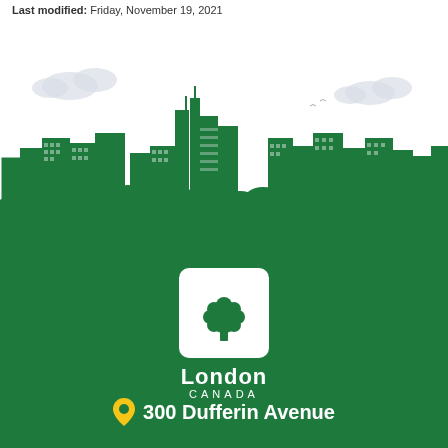Last modified: Friday, November 19, 2021
[Figure (illustration): Green city skyline illustration with buildings, trees, and clouds on white background, transitioning to a solid green ground area]
[Figure (logo): City of London Canada logo - white rounded square with green tree icon, text 'London CANADA' in white below]
300 Dufferin Avenue